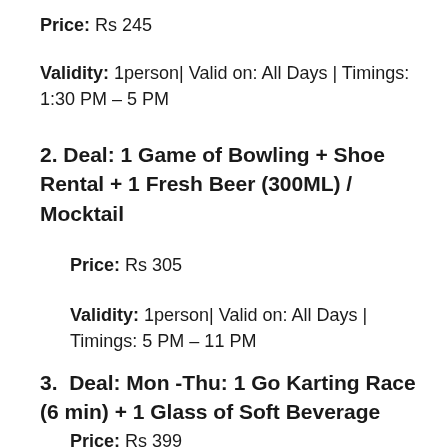Price: Rs 245
Validity: 1person| Valid on: All Days | Timings: 1:30 PM – 5 PM
2. Deal: 1 Game of Bowling + Shoe Rental + 1 Fresh Beer (300ML) /  Mocktail
Price: Rs 305
Validity: 1person| Valid on: All Days | Timings: 5 PM – 11 PM
3.  Deal: Mon -Thu: 1 Go Karting Race (6 min) + 1 Glass of Soft Beverage
Price: Rs 399